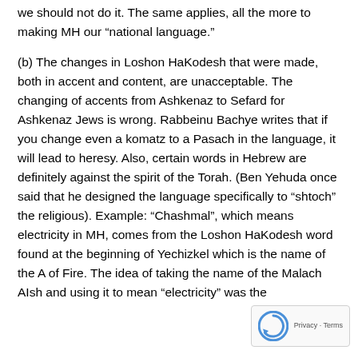we should not do it. The same applies, all the more to making MH our “national language.”
(b) The changes in Loshon HaKodesh that were made, both in accent and content, are unacceptable. The changing of accents from Ashkenaz to Sefard for Ashkenaz Jews is wrong. Rabbeinu Bachye writes that if you change even a komatz to a Pasach in the language, it will lead to heresy. Also, certain words in Hebrew are definitely against the spirit of the Torah. (Ben Yehuda once said that he designed the language specifically to “shtoch” the religious). Example: “Chashmal”, which means electricity in MH, comes from the Loshon HaKodesh word found at the beginning of Yechizkel which is the name of the A of Fire. The idea of taking the name of the Malach AIsh and using it to mean “electricity” was the